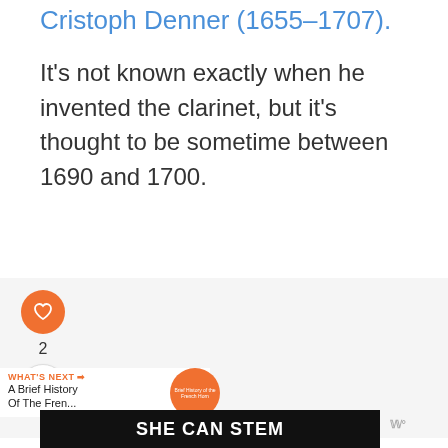Cristoph Denner (1655–1707).
It's not known exactly when he invented the clarinet, but it's thought to be sometime between 1690 and 1700.
[Figure (infographic): Social interaction panel with heart/like button showing count of 2, and a share button. Below is a 'What's Next' panel showing 'A Brief History Of The Fren...' with an orange circular thumbnail.]
[Figure (infographic): Advertisement banner with dark background showing 'SHE CAN STEM' in bold white text, with a logo mark on the right.]